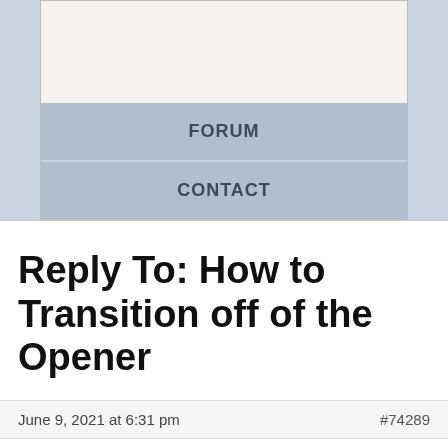FORUM
CONTACT
Reply To: How to Transition off of the Opener
June 9, 2021 at 6:31 pm  #74289
Eric Disco
Keymaster

When you open with something like asking directions, it usually won't work to transition into